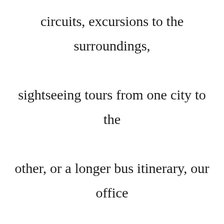circuits, excursions to the surroundings, sightseeing tours from one city to the other, or a longer bus itinerary, our office staff will administer numerous service categories. Accordedly with charming and friendly bus operators, our professional bus rental experts can prepare you an astonishingly instant quote for the many different eligible services. If you order